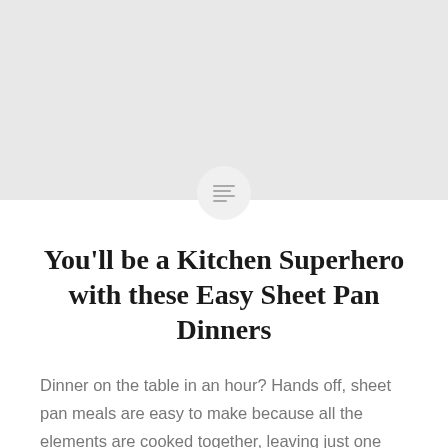[Figure (photo): Large light gray placeholder image with a circular icon overlay at the bottom center containing horizontal lines resembling a menu or list icon]
You’ll be a Kitchen Superhero with these Easy Sheet Pan Dinners
Dinner on the table in an hour? Hands off, sheet pan meals are easy to make because all the elements are cooked together, leaving just one pan to clean afterward. While there are no rules, we have some